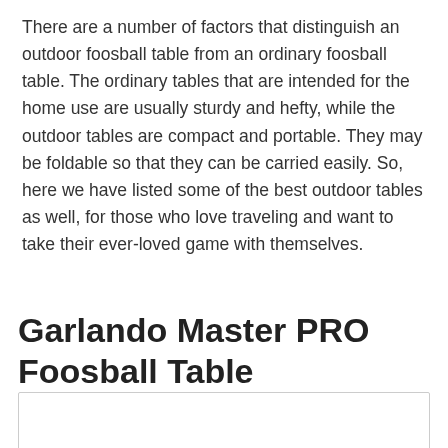There are a number of factors that distinguish an outdoor foosball table from an ordinary foosball table. The ordinary tables that are intended for the home use are usually sturdy and hefty, while the outdoor tables are compact and portable. They may be foldable so that they can be carried easily. So, here we have listed some of the best outdoor tables as well, for those who love traveling and want to take their ever-loved game with themselves.
Garlando Master PRO Foosball Table
[Figure (photo): Image placeholder box for Garlando Master PRO Foosball Table product photo]